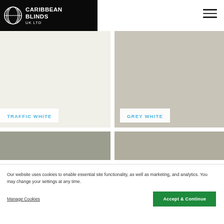[Figure (logo): Caribbean Blinds UK LTD logo — white text and striped globe icon on black background]
[Figure (illustration): Four color swatch panels: Traffic White (off-white), Grey White (light grey-beige), and two lower swatches (medium grey-green, medium grey-beige)]
TRAFFIC WHITE
GREY WHITE
Our website uses cookies to enable essential site functionality, as well as marketing, and analytics. You may change your settings at any time.
Manage Cookies
Accept & Continue